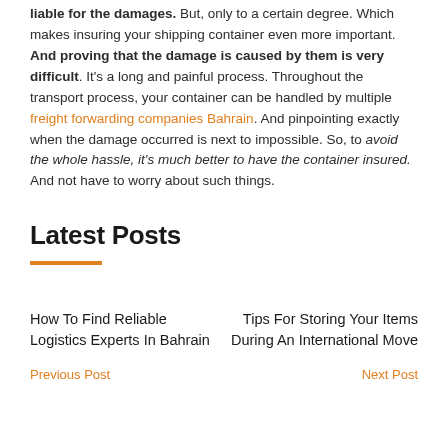liable for the damages. But, only to a certain degree. Which makes insuring your shipping container even more important. And proving that the damage is caused by them is very difficult. It's a long and painful process. Throughout the transport process, your container can be handled by multiple freight forwarding companies Bahrain. And pinpointing exactly when the damage occurred is next to impossible. So, to avoid the whole hassle, it's much better to have the container insured. And not have to worry about such things.
Latest Posts
How To Find Reliable Logistics Experts In Bahrain
Tips For Storing Your Items During An International Move
Previous Post
Next Post